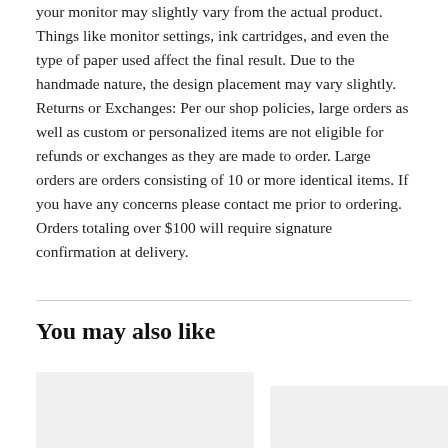your monitor may slightly vary from the actual product. Things like monitor settings, ink cartridges, and even the type of paper used affect the final result. Due to the handmade nature, the design placement may vary slightly. Returns or Exchanges: Per our shop policies, large orders as well as custom or personalized items are not eligible for refunds or exchanges as they are made to order. Large orders are orders consisting of 10 or more identical items. If you have any concerns please contact me prior to ordering. Orders totaling over $100 will require signature confirmation at delivery.
You may also like
[Figure (photo): Product image placeholder (light gray box, left)]
[Figure (photo): Product image placeholder (light gray box, right)]